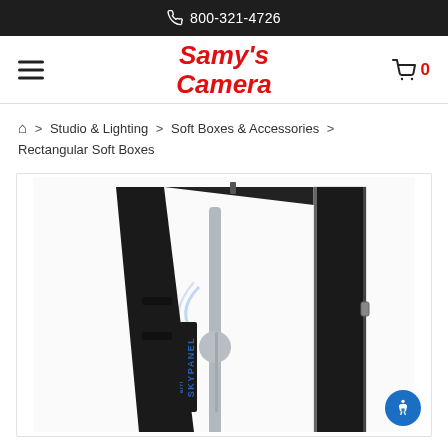800-321-4726
Samy's Camera
Studio & Lighting > Soft Boxes & Accessories > Rectangular Soft Boxes
[Figure (photo): A rectangular softbox (SKYPANEL branded) standing vertically, angled slightly to show depth. Black exterior with a white diffusion panel on the front. A light stand is partially visible through the open back of the softbox. The image is on a white background.]